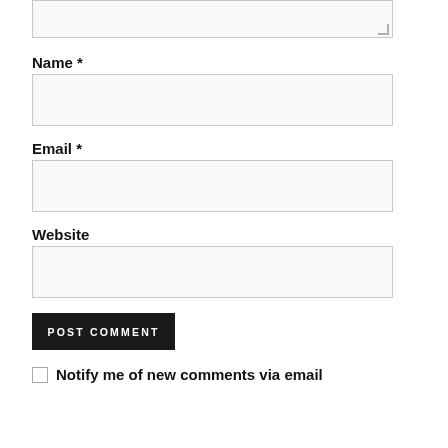[Figure (screenshot): Top of a comment form showing the bottom of a textarea input field with a resize handle in the lower right corner, background light gray.]
Name *
[Figure (screenshot): Name input field, empty, light gray background with border.]
Email *
[Figure (screenshot): Email input field, empty, light gray background with border.]
Website
[Figure (screenshot): Website input field, empty, light gray background with border.]
[Figure (screenshot): POST COMMENT button, dark/black background with white uppercase text.]
Notify me of new comments via email